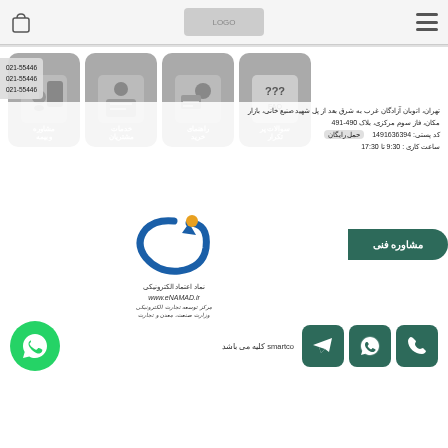Navigation header with hamburger menu, logo, and cart icon
[Figure (infographic): Four service icon boxes: FAQ (سوالات پر تکرار), راهنمای خرید, خدمات مشتریان, مشاوره و بیمه]
تهران، اتوبان آزادگان غرب به شرق بعد از پل شهید صنیع خانی، بازار مکان، فاز سوم مرکزی، بلاک 490-491
کد پستی: 1491636394
ساعت کاری: 9:30 تا 17:30
[Figure (logo): eNAMAD electronic trust logo with orange dot and blue curved arrow]
نماد اعتماد الکترونیکی
www.eNAMAD.ir
مرکز توسعه تجارت الکترونیکی
وزارت صنعت، معدن و تجارت
مشاوره فنی
smartco کلیه می باشد
[Figure (infographic): Three contact buttons (phone, WhatsApp, Telegram) in dark green and a WhatsApp circle icon]